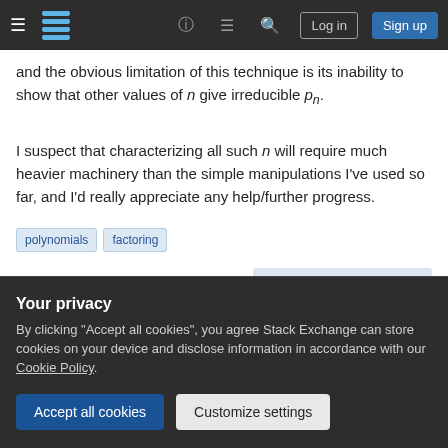Stack Exchange navigation bar with hamburger menu, logo, help, chat, search icons, Log in and Sign up buttons
and the obvious limitation of this technique is its inability to show that other values of n give irreducible p_n.
I suspect that characterizing all such n will require much heavier machinery than the simple manipulations I've used so far, and I'd really appreciate any help/further progress.
polynomials
factoring
Share  Cite  Follow
asked Sep 13, 2015 at 0:39
Your privacy
By clicking "Accept all cookies", you agree Stack Exchange can store cookies on your device and disclose information in accordance with our Cookie Policy.
Accept all cookies   Customize settings